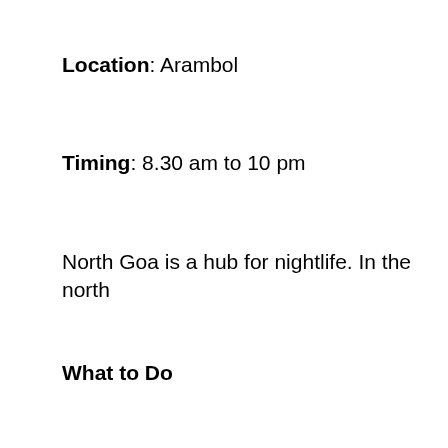Location: Arambol
Timing: 8.30 am to 10 pm
North Goa is a hub for nightlife. In the north
What to Do